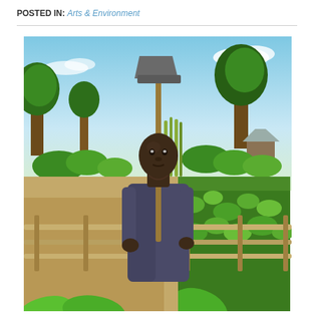POSTED IN: Arts & Environment
[Figure (photo): A young African man stands in a lush garden holding a hoe/shovel over his shoulder, leaning against a wooden fence. Behind him are green plants, trees, and a small structure with a metal roof under a blue sky.]